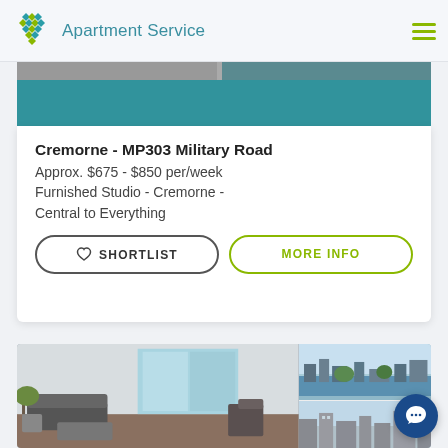Apartment Service
[Figure (screenshot): Apartment listing card with teal amenities bar showing 1 bed, 1 bath, N/A parking icons, followed by listing details and two action buttons]
Cremorne - MP303 Military Road
Approx. $675 - $850 per/week
Furnished Studio - Cremorne - Central to Everything
[Figure (photo): Bottom collage showing apartment interior living room on the left, and two outdoor/cityscape photos stacked on the right]